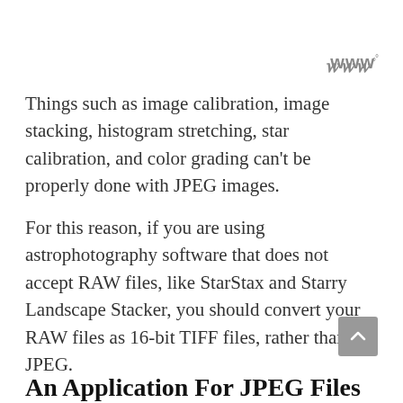[Figure (logo): Small logo or icon in top right corner, appears to be a stylized 'w' or similar mark with a superscript degree symbol]
Things such as image calibration, image stacking, histogram stretching, star calibration, and color grading can't be properly done with JPEG images.
For this reason, if you are using astrophotography software that does not accept RAW files, like StarStax and Starry Landscape Stacker, you should convert your RAW files as 16-bit TIFF files, rather than JPEG.
An Application For JPEG Files